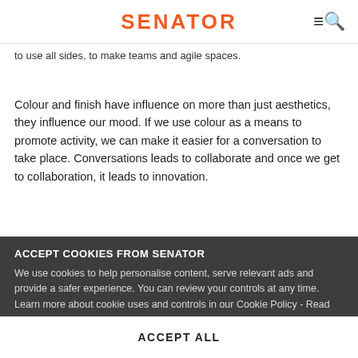SENATOR
to use all sides, to make teams and agile spaces.
Colour and finish have influence on more than just aesthetics, they influence our mood. If we use colour as a means to promote activity, we can make it easier for a conversation to take place. Conversations leads to collaborate and once we get to collaboration, it leads to innovation.
These ideas and theories inspired so much, we took one step further and condensed them down into a collection of products that we call Hoy; the Hoy collection of desks, tables, chairs, storage, and more. The can be used collectively or individually but at its core, Hoy has been designed to facilitate agile working.
ACCEPT COOKIES FROM SENATOR
We use cookies to help personalise content, serve relevant ads and provide a safer experience. You can review your controls at any time. Learn more about cookie uses and controls in our Cookie Policy - Read more
MANAGE COOKIES
Written by Adrian Campbell
Workplace Consultant of The Senator Group
ACCEPT ALL